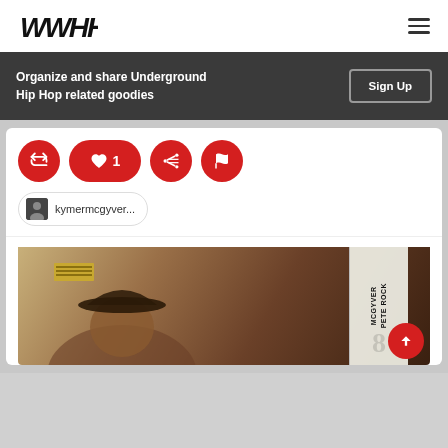[Figure (logo): WWHH stylized graffiti-style logo in bold black italic letters]
Organize and share Underground Hip Hop related goodies
Sign Up
[Figure (illustration): Four red circular icon buttons: repost/retweet icon, heart/like icon with count '1', share/list icon, flag icon]
kymermcgyver...
[Figure (photo): Album cover image showing a person wearing a cap in sepia/brown tones, with 'MCGYVЕР PETE ROCK' text on the right side in white on dark background]